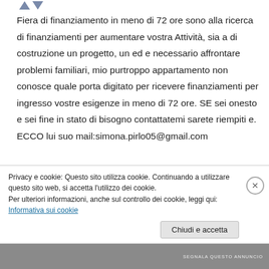Fiera di finanziamento in meno di 72 ore sono alla ricerca di finanziamenti per aumentare vostra Attività, sia a di costruzione un progetto, un ed e necessario affrontare problemi familiari, mio purtroppo appartamento non conosce quale porta digitato per ricevere finanziamenti per ingresso vostre esigenze in meno di 72 ore. SE sei onesto e sei fine in stato di bisogno contattatemi sarete riempiti e. ECCO lui suo mail:simona.pirlo05@gmail.com
Privacy e cookie: Questo sito utilizza cookie. Continuando a utilizzare questo sito web, si accetta l'utilizzo dei cookie. Per ulteriori informazioni, anche sul controllo dei cookie, leggi qui: Informativa sui cookie
Chiudi e accetta